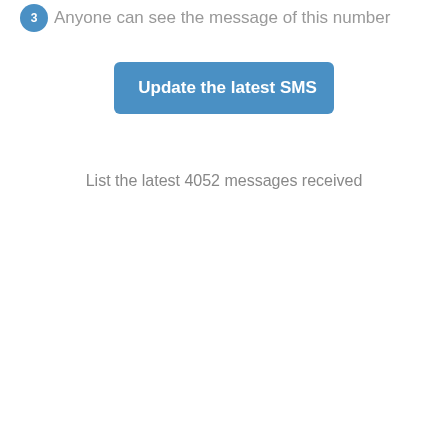Anyone can see the message of this number
[Figure (other): Blue rounded rectangle button with refresh icon and text 'Update the latest SMS']
List the latest 4052 messages received